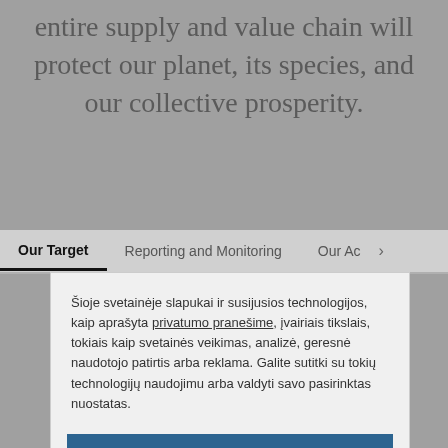entire supply and value chain will protect our planet, its species, and our collective prosperity.
Our Target | Reporting and Monitoring | Our Ac >
Šioje svetainėje slapukai ir susijusios technologijos, kaip aprašyta privatumo pranešime, įvairiais tikslais, tokiais kaip svetainės veikimas, analizė, geresnė naudotojo patirtis arba reklama. Galite sutitki su tokių technologijų naudojimu arba valdyti savo pasirinktas nuostatas.
Valdyti nustatymus
Patvirtinti viską
Atsisakyti visko
Pareiškimas apie slapukus